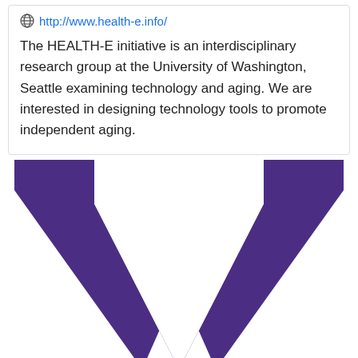http://www.health-e.info/
The HEALTH-E initiative is an interdisciplinary research group at the University of Washington, Seattle examining technology and aging. We are interested in designing technology tools to promote independent aging.
[Figure (logo): University of Washington block W logo in purple on white background]